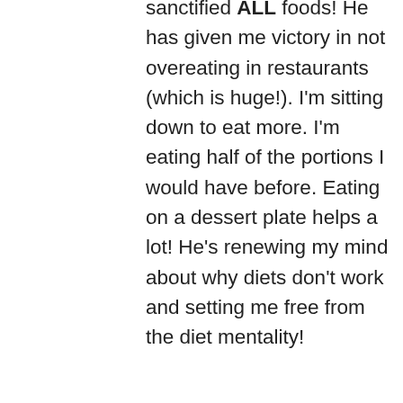sanctified ALL foods! He has given me victory in not overeating in restaurants (which is huge!). I'm sitting down to eat more. I'm eating half of the portions I would have before. Eating on a dessert plate helps a lot! He's renewing my mind about why diets don't work and setting me free from the diet mentality!
Reply
Heidi Bylsma on July 29, 2013 at 9:05 am
[Figure (photo): Small avatar photo of a woman with dark hair outdoors]
Christina, you have NO idea how reading this has caused my HEART TO